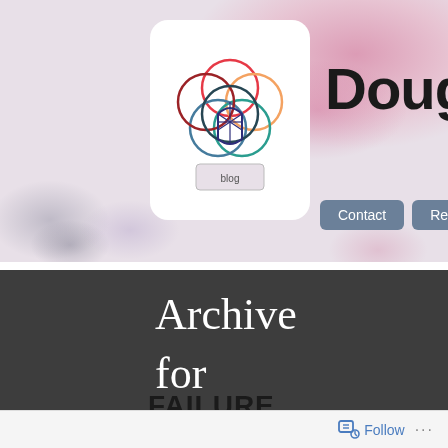[Figure (screenshot): Blog website screenshot showing header with colorful logo, watercolor background, navigation buttons (Contact, Resume, About), site title 'Doug Hug', archive section for June 2010, sidebar note 'What happened to Alagad?', text 'Hi! I']
Doug Hug
Archive for June, 2010
What happened to Alagad?
Hi ! I'
FAILURE
LEADS
Follow ...